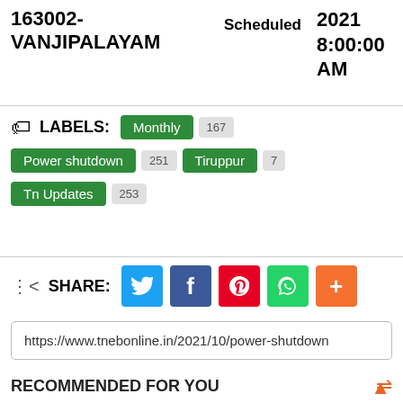163002-VANJIPALAYAM  Scheduled  2021 8:00:00 AM
LABELS: Monthly 167  Power shutdown 251  Tiruppur 7  Tn Updates 253
SHARE: [Twitter] [Facebook] [Pinterest] [WhatsApp] [+]
https://www.tnebonline.in/2021/10/power-shutdown
RECOMMENDED FOR YOU